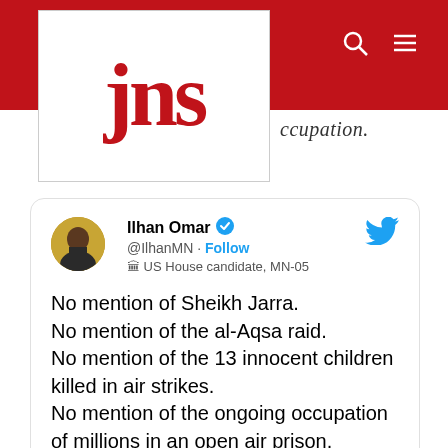JNS
ccupation.
[Figure (screenshot): Tweet by Ilhan Omar (@IlhanMN) verified account, US House candidate MN-05. Tweet text: No mention of Sheikh Jarra. No mention of the al-Aqsa raid. No mention of the 13 innocent children killed in air strikes. No mention of the ongoing occupation of millions in an open air prison. You aren't prioritizing human rights. You're siding with an oppressive occupation.]